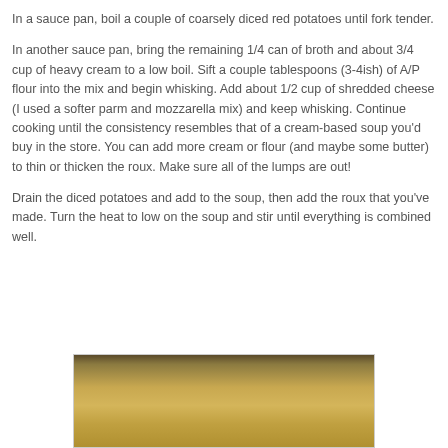In a sauce pan, boil a couple of coarsely diced red potatoes until fork tender.
In another sauce pan, bring the remaining 1/4 can of broth and about 3/4 cup of heavy cream to a low boil. Sift a couple tablespoons (3-4ish) of A/P flour into the mix and begin whisking. Add about 1/2 cup of shredded cheese (I used a softer parm and mozzarella mix) and keep whisking. Continue cooking until the consistency resembles that of a cream-based soup you'd buy in the store. You can add more cream or flour (and maybe some butter) to thin or thicken the roux. Make sure all of the lumps are out!
Drain the diced potatoes and add to the soup, then add the roux that you've made. Turn the heat to low on the soup and stir until everything is combined well.
[Figure (photo): Close-up photo of a bowl of cream-based potato soup, showing the smooth creamy surface of the soup in a bowl, warm golden/tan color.]